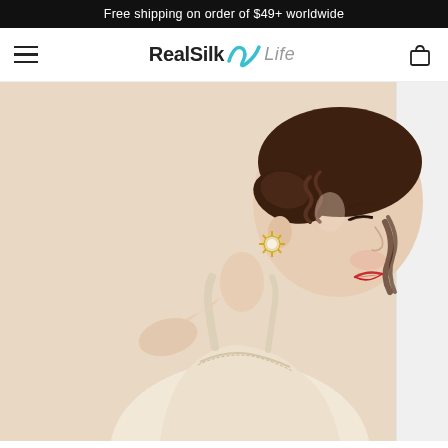Free shipping on order of $49+ worldwide
[Figure (logo): RealSilk Life brand logo with teal wave graphic between 'RealSilk' and 'Life']
[Figure (photo): Young woman with an elegant updo hairstyle, pearl earrings, wearing a cream/ivory silk camisole with lace trim, smiling profile view against a beige background]